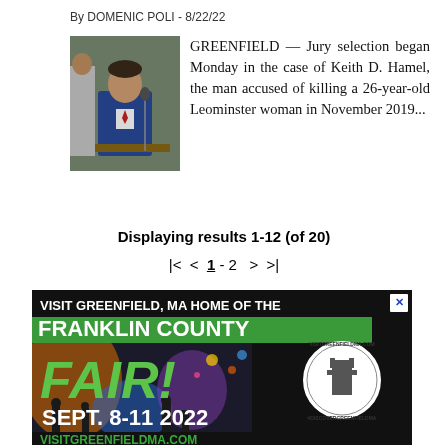By DOMENIC POLI - 8/22/22
[Figure (photo): Man in blue suit sitting at a table in a courtroom setting]
GREENFIELD — Jury selection began Monday in the case of Keith D. Hamel, the man accused of killing a 26-year-old Leominster woman in November 2019...
Displaying results 1-12 (of 20)
|<  <  1 - 2   >  >|
[Figure (illustration): Advertisement: Visit Greenfield, MA Home of the Franklin County Fair! Sept. 8-11 2022. VISITGREENFIELDMA.COM. WWW.FCAS.COM. Massachusetts logo. My Local logo.]